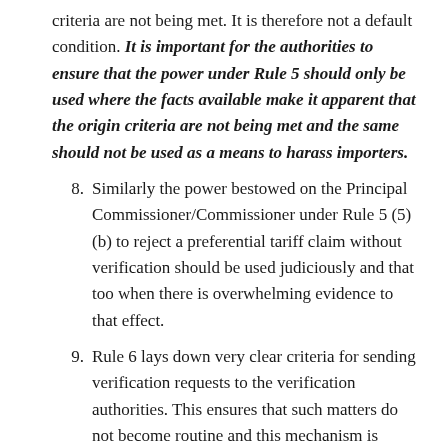criteria are not being met. It is therefore not a default condition. It is important for the authorities to ensure that the power under Rule 5 should only be used where the facts available make it apparent that the origin criteria are not being met and the same should not be used as a means to harass importers.
8. Similarly the power bestowed on the Principal Commissioner/Commissioner under Rule 5 (5) (b) to reject a preferential tariff claim without verification should be used judiciously and that too when there is overwhelming evidence to that effect.
9. Rule 6 lays down very clear criteria for sending verification requests to the verification authorities. This ensures that such matters do not become routine and this mechanism is resorted to only in